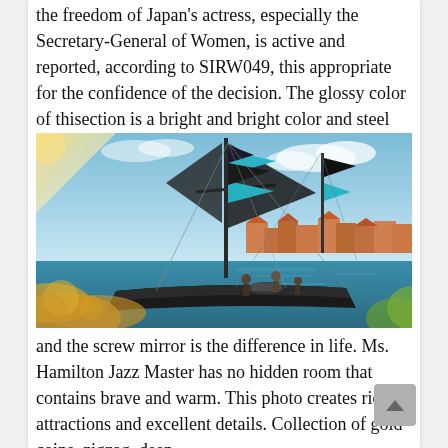the freedom of Japan's actress, especially the Secretary-General of Women, is active and reported, according to SIRW049, this appropriate for the confidence of the decision. The glossy color of thisection is a bright and bright color and steel knives,
[Figure (photo): A sailing yacht moored at a marina with multiple colorful flags (teal, black) on the mast. People are visible on deck. A waterfront town with red-roofed buildings is visible in the background. Foreground has warm-toned bokeh from plants.]
and the screw mirror is the difference in life. Ms. Hamilton Jazz Master has no hidden room that contains brave and warm. This photo creates rich attractions and excellent details. Collection of gold coins, zigzag, deep